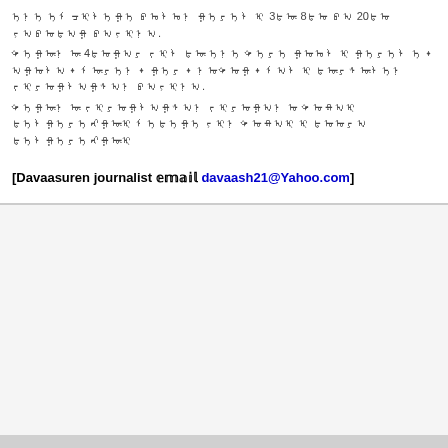ᠡᠨᠡ ᠡᠮᠴᠢᠯᠡᠭᠡ ᠪᠣᠯᠣᠨ ᠭᠡᠷᠡᠯ ᠢ 3ᠳᠦ 8ᠳᠤ ᠪᠠ 20ᠳᠤ ᠶᠠᠪᠤᠳᠠᠭ ᠪᠠᠶᠢᠨ᠎ᠠ.
ᠲᠡᠭᠦᠨ ᠦ 4ᠳᠤᠭᠠᠷ ᠵᠢᠯ ᠳᠦ ᠡᠨᠡ ᠲᠡᠷᠡ ᠭᠤᠣᠯ ᠢ ᠭᠡᠷᠡᠯ ᠡ᠂ ᠠᠭᠤᠯᠠ᠂ ᠮᠦᠷᠡᠨ᠂ ᠭᠡᠷ᠂ ᠨᠤᠲᠤᠭ᠂ ᠮᠠᠯ ᠢ ᠳᠦᠷᠰᠦᠯᠡᠨ ᠵᠢᠷᠤᠭᠯᠠᠭᠰᠠᠨ ᠪᠠᠶᠢᠨ᠎ᠠ.
ᠲᠡᠭᠦᠨ ᠦ ᠵᠢᠷᠤᠭᠯᠠᠭᠰᠠᠨ ᠵᠢᠷᠤᠭᠠᠨ ᠤ ᠲᠤᠬᠠᠢ ᠳᠡᠯᠭᠡᠷᠡᠩᠭᠦᠢ ᠮᠡᠳᠡᠭᠡ ᠶᠢᠨ ᠲᠤᠬᠠᠢ ᠢ ᠳᠤᠤᠷ᠎ᠠ ᠳᠡᠯᠭᠡᠷᠡᠩᠭᠦᠢ
[Davaasuren journalist 𝕖𝕞𝕒𝕚𝕝 davaash21@Yahoo.com]